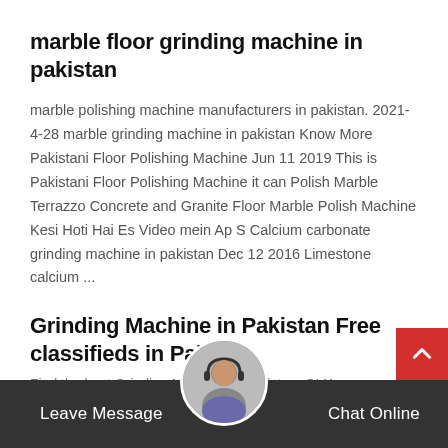marble floor grinding machine in pakistan
marble polishing machine manufacturers in pakistan. 2021-4-28 marble grinding machine in pakistan Know More Pakistani Floor Polishing Machine Jun 11 2019 This is Pakistani Floor Polishing Machine it can Polish Marble Terrazzo Concrete and Granite Floor Marble Polish Machine Kesi Hoti Hai Es Video mein Ap S Calcium carbonate grinding machine in pakistan Dec 12 2016 Limestone calcium ...
Grinding Machine in Pakistan Free classifieds in Paki...
Find the best Grinding Machine in Pakistan. OLX
Leave Message   Chat Online